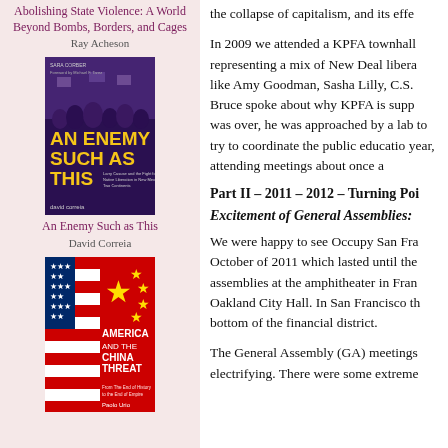Abolishing State Violence: A World Beyond Bombs, Borders, and Cages
Ray Acheson
[Figure (illustration): Book cover of 'An Enemy Such as This' — dark purple background with crowd protest imagery and bold yellow title text]
An Enemy Such as This
David Correia
[Figure (illustration): Book cover of 'America and the China Threat' — split design with US flag on left and Chinese red background with white text on right, by Paolo Urio]
the collapse of capitalism, and its effe
In 2009 we attended a KPFA townhall representing a mix of New Deal libera like Amy Goodman, Sasha Lilly, C.S. Bruce spoke about why KPFA is supp was over, he was approached by a lab to try to coordinate the public educatio year, attending meetings about once a
Part II – 2011 – 2012 – Turning Poi
Excitement of General Assemblies:
We were happy to see Occupy San Fra October of 2011 which lasted until the assemblies at the amphitheater in Fran Oakland City Hall. In San Francisco th bottom of the financial district.
The General Assembly (GA) meetings electrifying. There were some extreme